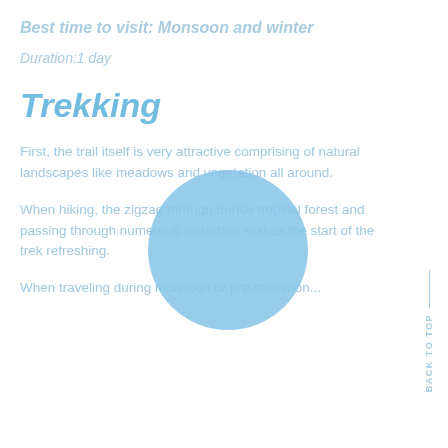Best time to visit: Monsoon and winter
Duration:1 day
Trekking
[Figure (illustration): A large light blue circle overlapping the text content]
First, the trail itself is very attractive comprising of natural landscapes like meadows and vegetation all around.
When hiking, the zigzag through dense tropical forest and passing through numerous waterfalls makes the start of the trek refreshing.
When traveling during monsoon or pre-monsoon...